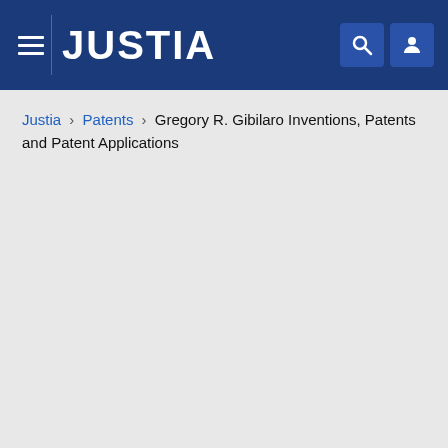JUSTIA
Justia › Patents › Gregory R. Gibilaro Inventions, Patents and Patent Applications